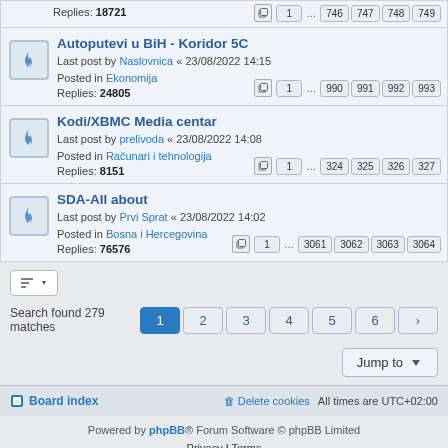Replies: 18721 | pages: 1 ... 746 747 748 749
Autoputevi u BiH - Koridor 5C
Last post by Naslovnica « 23/08/2022 14:15
Posted in Ekonomija
Replies: 24805 | pages: 1 ... 990 991 992 993
Kodi/XBMC Media centar
Last post by prelivoda « 23/08/2022 14:08
Posted in Računari i tehnologija
Replies: 8151 | pages: 1 ... 324 325 326 327
SDA-All about
Last post by Prvi Sprat « 23/08/2022 14:02
Posted in Bosna i Hercegovina
Replies: 76576 | pages: 1 ... 3061 3062 3063 3064
Search found 279 matches
Powered by phpBB® Forum Software © phpBB Limited
Privacy | Terms
Board index | Delete cookies | All times are UTC+02:00